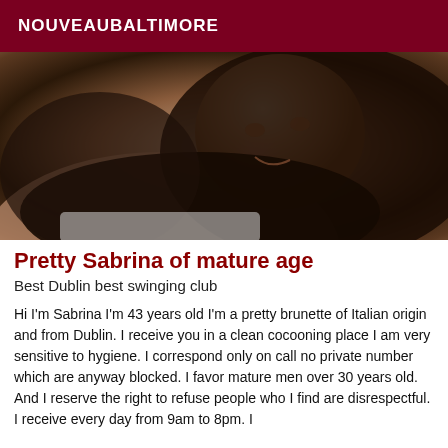NOUVEAUBALTIMORE
[Figure (photo): Close-up photo of a smiling brunette woman lying down, with long dark hair spread around her, wearing a white top.]
Pretty Sabrina of mature age
Best Dublin best swinging club
Hi I'm Sabrina I'm 43 years old I'm a pretty brunette of Italian origin and from Dublin. I receive you in a clean cocooning place I am very sensitive to hygiene. I correspond only on call no private number which are anyway blocked. I favor mature men over 30 years old. And I reserve the right to refuse people who I find are disrespectful. I receive every day from 9am to 8pm. I